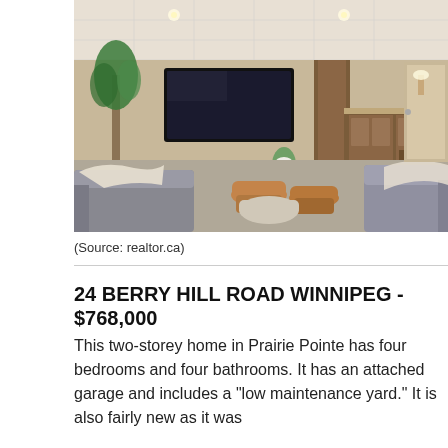[Figure (photo): Interior photo of a finished basement recreation room with grey sofas, rattan stools, a large wall-mounted TV, a tall indoor plant, and a bar/kitchenette area with wood cabinetry in the background. Recessed lighting in a dropped tile ceiling.]
(Source: realtor.ca)
24 BERRY HILL ROAD WINNIPEG - $768,000
This two-storey home in Prairie Pointe has four bedrooms and four bathrooms. It has an attached garage and includes a "low maintenance yard." It is also fairly new as it was